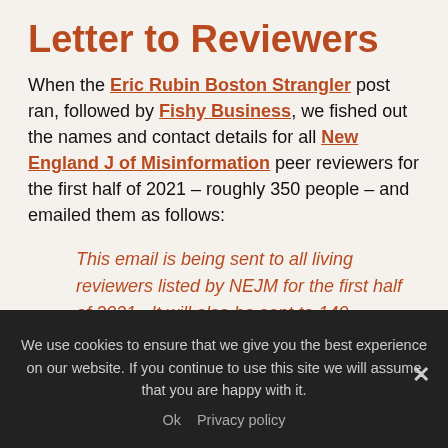Letter to Reviewers
When the Eric Rubin Boston Strangler post ran, followed by Fishy Business, we fished out the names and contact details for all New England J of Misinformation peer reviewers for the first half of 2021 – roughly 350 people – and emailed them as follows:
This email is being sent to all living reviewers listed by NEJM for the first half of 2021.  It will also be sent to 140 participants on a listserve interested in pharma-related matters, who are
We use cookies to ensure that we give you the best experience on our website. If you continue to use this site we will assume that you are happy with it.
Ok   Privacy policy